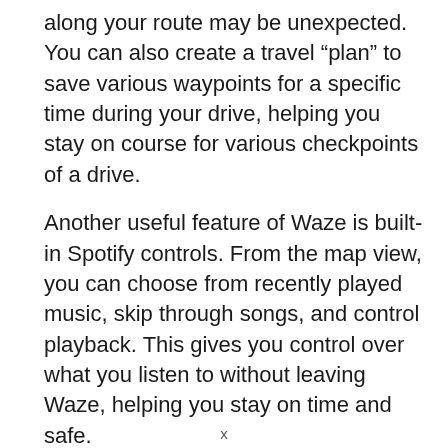along your route may be unexpected. You can also create a travel “plan” to save various waypoints for a specific time during your drive, helping you stay on course for various checkpoints of a drive.
Another useful feature of Waze is built-in Spotify controls. From the map view, you can choose from recently played music, skip through songs, and control playback. This gives you control over what you listen to without leaving Waze, helping you stay on time and safe.
Who Waze is for
Waze is great for anyone who relies on driving to get around. Community-generated updates make it
x